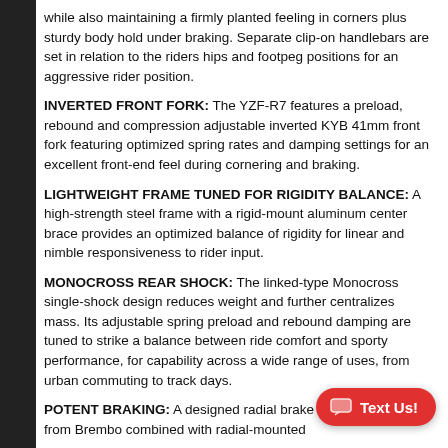while also maintaining a firmly planted feeling in corners plus sturdy body hold under braking. Separate clip-on handlebars are set in relation to the riders hips and footpeg positions for an aggressive rider position.
INVERTED FRONT FORK: The YZF-R7 features a preload, rebound and compression adjustable inverted KYB 41mm front fork featuring optimized spring rates and damping settings for an excellent front-end feel during cornering and braking.
LIGHTWEIGHT FRAME TUNED FOR RIGIDITY BALANCE: A high-strength steel frame with a rigid-mount aluminum center brace provides an optimized balance of rigidity for linear and nimble responsiveness to rider input.
MONOCROSS REAR SHOCK: The linked-type Monocross single-shock design reduces weight and further centralizes mass. Its adjustable spring preload and rebound damping are tuned to strike a balance between ride comfort and sporty performance, for capability across a wide range of uses, from urban commuting to track days.
POTENT BRAKING: A designed radial brake master cylinder from Brembo combined with radial-mounted